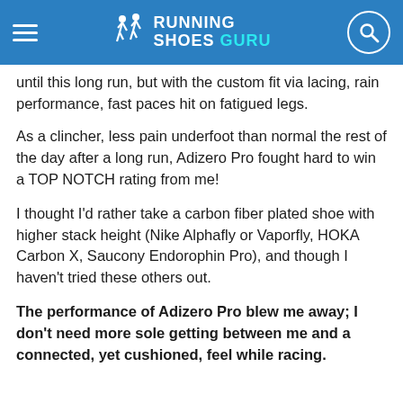RUNNING SHOES GURU
until this long run, but with the custom fit via lacing, rain performance, fast paces hit on fatigued legs.
As a clincher, less pain underfoot than normal the rest of the day after a long run, Adizero Pro fought hard to win a TOP NOTCH rating from me!
I thought I’d rather take a carbon fiber plated shoe with higher stack height (Nike Alphafly or Vaporfly, HOKA Carbon X, Saucony Endorophin Pro), and though I haven’t tried these others out.
The performance of Adizero Pro blew me away; I don’t need more sole getting between me and a connected, yet cushioned, feel while racing.